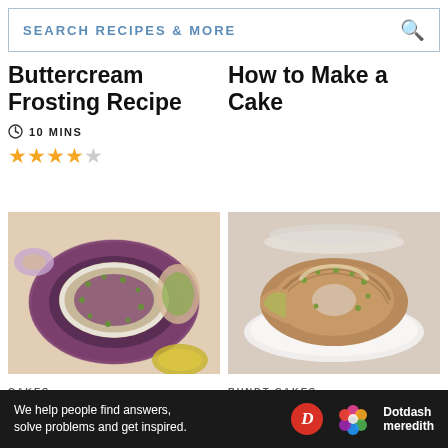SEARCH RECIPES & MORE
Buttercream Frosting Recipe
10 MINS
How to Make a Cake
[Figure (photo): Pistachio bundt cake on a purple plate, sliced, with white glaze and chopped pistachios, viewed from above]
CAKES
Pistachio Pudding Cake Recipe
[Figure (photo): Pistachio bundt cake on a white plate with cardamom glaze and chopped pistachios, partially sliced, side view]
BUNDT CAKES
Pistachio Cake With Cardamom Glaze
We help people find answers, solve problems and get inspired.
Dotdash meredith